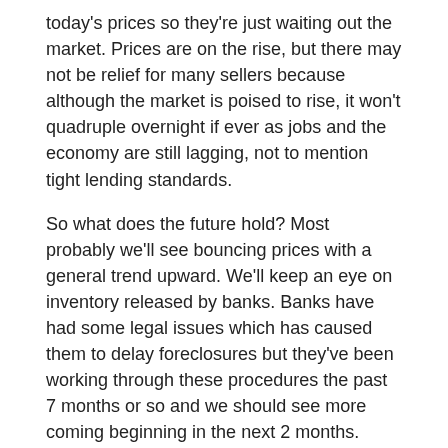today's prices so they're just waiting out the market. Prices are on the rise, but there may not be relief for many sellers because although the market is poised to rise, it won't quadruple overnight if ever as jobs and the economy are still lagging, not to mention tight lending standards.
So what does the future hold? Most probably we'll see bouncing prices with a general trend upward. We'll keep an eye on inventory released by banks. Banks have had some legal issues which has caused them to delay foreclosures but they've been working through these procedures the past 7 months or so and we should see more coming beginning in the next 2 months.
The market is absorbing sales. Season is over and many of the 2nd home buyers have gone home although many return in the summer and purchase. 1st time home buyers and investors have been competing with each other for the bank owned bargains, and the investor usually wins with a cash offer. The variables in this market right now are bank owned inventory, jobs, the economy, and oil prices.
Sales could decline if we don't have enough sellable inventory, and of course ultimately the economy will drive sales once prices return to normal. The future is clear, the path is chosen. What is